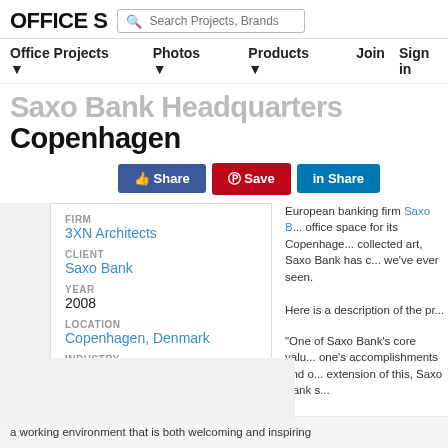OFFICE S | Search Projects, Brands, ...
Office Projects ▼   Photos ▼   Products ▼   Join   Sign in
Saxo Bank Headquarters Copenhagen
Share  Save  Share
| FIRM | 3XN Architects |
| CLIENT | Saxo Bank |
| YEAR | 2008 |
| LOCATION | Copenhagen, Denmark |
| INDUSTRY | Financial / Investments |
European banking firm Saxo B... office space for its Copenhage... collected art, Saxo Bank has c... we've ever seen.

Here is a description of the pr...
“One of Saxo Bank’s core valu... one’s accomplishments and o... extension of this, Saxo Bank s... a working environment that is both welcoming and inspiring